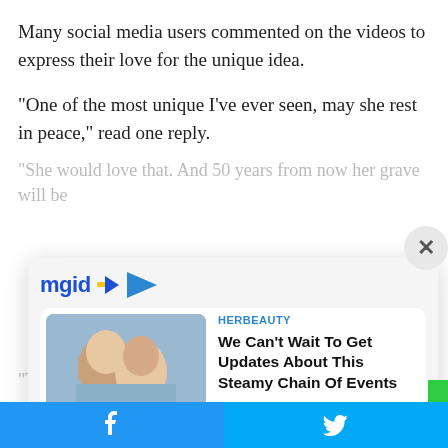Many social media users commented on the videos to express their love for the unique idea.
“One of the most unique I’ve ever seen, may she rest in peace,” read one reply.
“She would love that. And 50 years from now her grave will be ex…
“Th… an…
Ot…
[Figure (screenshot): MGID advertisement widget with two content cards. First card: HERBEAUTY - 'We Can’t Wait To Get Updates About This Steamy Chain Of Events' with a photo of a couple. Second card: BRAINBERRIES - 'Jen’s Behavior Is A Clear Indicator That She’s Not Approachable' with a photo of a woman.]
[Figure (other): Bottom social share bar with Facebook and Twitter buttons in blue.]